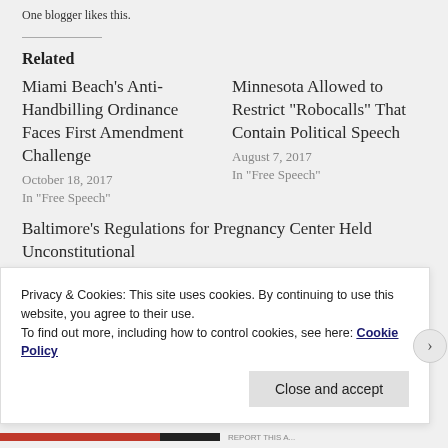One blogger likes this.
Related
Miami Beach's Anti-Handbilling Ordinance Faces First Amendment Challenge
October 18, 2017
In "Free Speech"
Minnesota Allowed to Restrict “Robocalls” That Contain Political Speech
August 7, 2017
In "Free Speech"
Baltimore's Regulations for Pregnancy Center Held Unconstitutional
April 16, 2018
Privacy & Cookies: This site uses cookies. By continuing to use this website, you agree to their use.
To find out more, including how to control cookies, see here: Cookie Policy